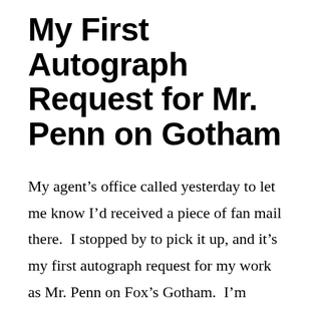My First Autograph Request for Mr. Penn on Gotham
My agent's office called yesterday to let me know I'd received a piece of fan mail there.  I stopped by to pick it up, and it's my first autograph request for my work as Mr. Penn on Fox's Gotham.  I'm delighted. It's also the most organized autograph request I've ever received!  The note includes a nicely …